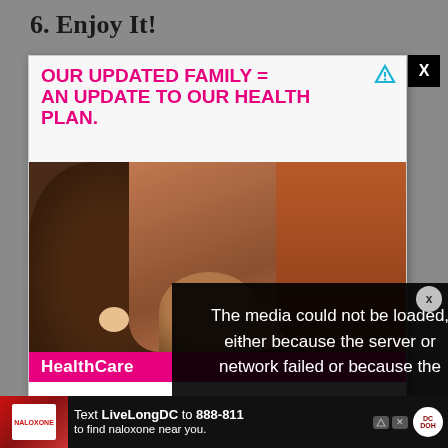6. Enjoy It!
[Figure (screenshot): A web page screenshot showing an advertisement popup for HealthCare.gov with pink bold text reading 'OUR UPDATED FAMILY = AN UPDATE TO OUR HEALTH PLAN.' over a photo of a smiling Black man, a woman, and a baby lying together. A black close button with X appears in the top-right corner. An error overlay reads 'The media could not be loaded, either because the server or network failed or because the' with a small X dismiss button.]
travel and explore wil
furth
perfo
[Figure (screenshot): Bottom banner advertisement: 'Text LiveLongDC to 888-811 to find naloxone near you.' with a red image of naloxone packaging and a DHH logo.]